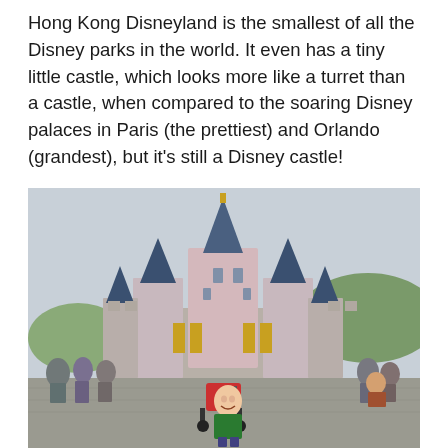Hong Kong Disneyland is the smallest of all the Disney parks in the world. It even has a tiny little castle, which looks more like a turret than a castle, when compared to the soaring Disney palaces in Paris (the prettiest) and Orlando (grandest), but it's still a Disney castle!
[Figure (photo): Photo of Hong Kong Disneyland castle with a young child in a green shirt laughing in the foreground, and a red stroller behind him. The castle has blue rooftops and pink/beige walls with golden banners. Crowds of visitors are visible in the background.]